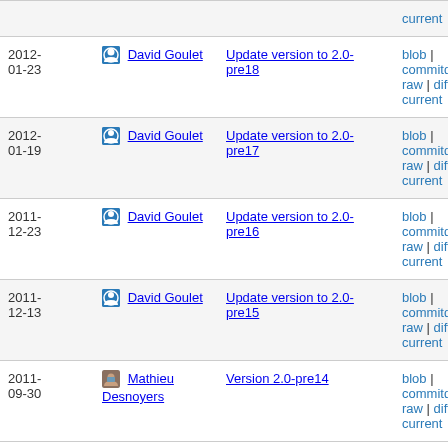| Date | Author | Message | Links |
| --- | --- | --- | --- |
|  |  |  | current |
| 2012-01-23 | David Goulet | Update version to 2.0-pre18 | blob | commitdiff | raw | diff to current |
| 2012-01-19 | David Goulet | Update version to 2.0-pre17 | blob | commitdiff | raw | diff to current |
| 2011-12-23 | David Goulet | Update version to 2.0-pre16 | blob | commitdiff | raw | diff to current |
| 2011-12-13 | David Goulet | Update version to 2.0-pre15 | blob | commitdiff | raw | diff to current |
| 2011-09-30 | Mathieu Desnoyers | Version 2.0-pre14 | blob | commitdiff | raw | diff to current |